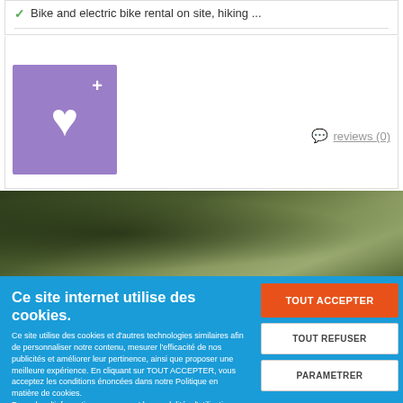Bike and electric bike rental on site, hiking ...
[Figure (illustration): Purple button with white heart icon and plus sign, representing a favorites/wishlist button]
reviews (0)
[Figure (photo): Outdoor nature photo showing trees and a path with green foliage]
Ce site internet utilise des cookies.
Ce site utilise des cookies et d'autres technologies similaires afin de personnaliser notre contenu, mesurer l'efficacité de nos publicités et améliorer leur pertinence, ainsi que proposer une meilleure expérience. En cliquant sur TOUT ACCEPTER, vous acceptez les conditions énoncées dans notre Politique en matière de cookies. Pour plus d'informations concernant les modalités d'utilisation des cookies, consultez notre politique de confidentialité. Pour modifier vos préférences, vous devez mettre paramétrer vos préférences de cookies.
TOUT ACCEPTER
TOUT REFUSER
PARAMETRER